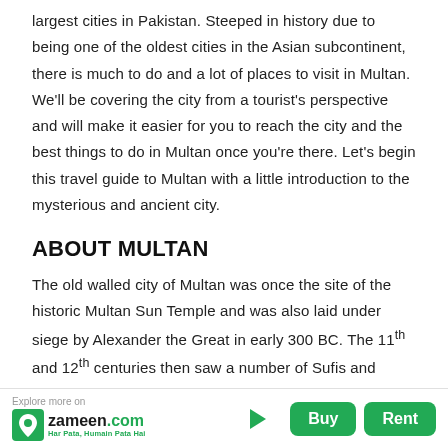largest cities in Pakistan. Steeped in history due to being one of the oldest cities in the Asian subcontinent, there is much to do and a lot of places to visit in Multan. We'll be covering the city from a tourist's perspective and will make it easier for you to reach the city and the best things to do in Multan once you're there. Let's begin this travel guide to Multan with a little introduction to the mysterious and ancient city.
ABOUT MULTAN
The old walled city of Multan was once the site of the historic Multan Sun Temple and was also laid under siege by Alexander the Great in early 300 BC. The 11th and 12th centuries then saw a number of Sufis and saints coming to the city, as it was a trading centre and melting pot of various religions. Modern-
Explore more on zameen.com Har Pata, Humain Pata Hai | Buy | Rent